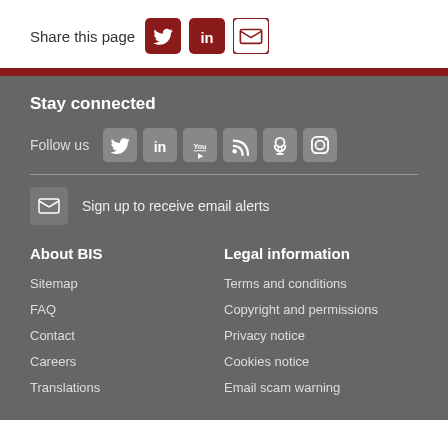Share this page
[Figure (infographic): Social sharing icons: Twitter, LinkedIn, Email]
Stay connected
Follow us
[Figure (infographic): Social media icons: Twitter, LinkedIn, YouTube, RSS, Podcast, Instagram]
Sign up to receive email alerts
About BIS
Sitemap
FAQ
Contact
Careers
Translations
Legal information
Terms and conditions
Copyright and permissions
Privacy notice
Cookies notice
Email scam warning